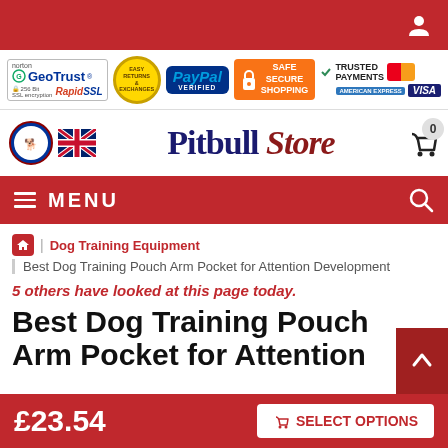Pitbull Store - top navigation bar with user icon
[Figure (infographic): Trust badges bar: GeoTrust 256-bit SSL / RapidSSL, Easy Returns & Exchanges circular badge, PayPal Verified, Safe Secure Shopping (orange), Trusted Payments with MasterCard, American Express, Visa]
[Figure (logo): Pitbull Store logo with union jack flag and pitbull dog emblem, basket icon with 0 count]
MENU navigation bar with hamburger icon and search icon
Dog Training Equipment
Best Dog Training Pouch Arm Pocket for Attention Development
5 others have looked at this page today.
Best Dog Training Pouch Arm Pocket for Attention
£23.54  SELECT OPTIONS